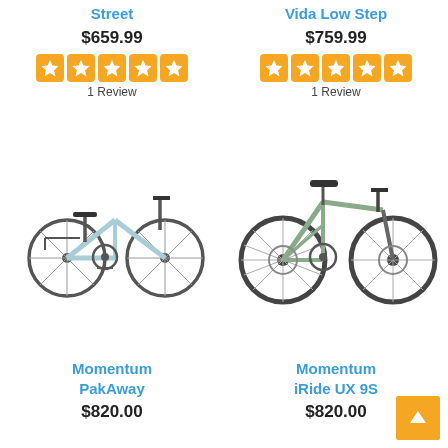Street
$659.99
1 Review
Vida Low Step
$759.99
1 Review
[Figure (photo): Momentum PakAway folding bicycle in light blue color]
Momentum PakAway
$820.00
[Figure (photo): Momentum iRide UX 9S city bicycle in sage green color]
Momentum iRide UX 9S
$820.00